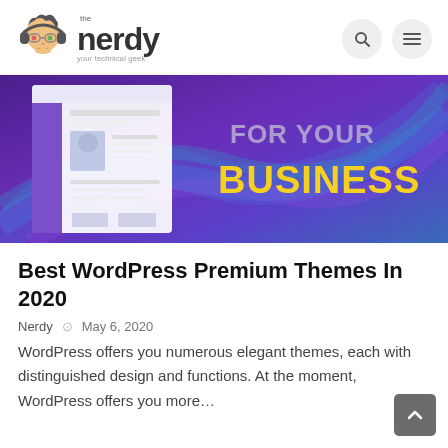[Figure (logo): The Nerdy logo — cartoon nerdy character with glasses and headphones next to the text 'the nerdy' with tagline 'your technical geek']
[Figure (screenshot): Purple/blue gradient banner showing a website mockup on the left and bold text 'FOR YOUR BUSINESS' in yellow on the right]
Best WordPress Premium Themes In 2020
Nerdy   May 6, 2020
WordPress offers you numerous elegant themes, each with distinguished design and functions. At the moment, WordPress offers you more…